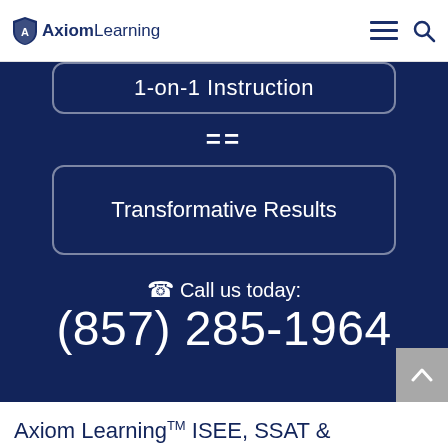Axiom Learning
1-on-1 Instruction
=
Transformative Results
Call us today: (857) 285-1964
Axiom Learning™ ISEE, SSAT &